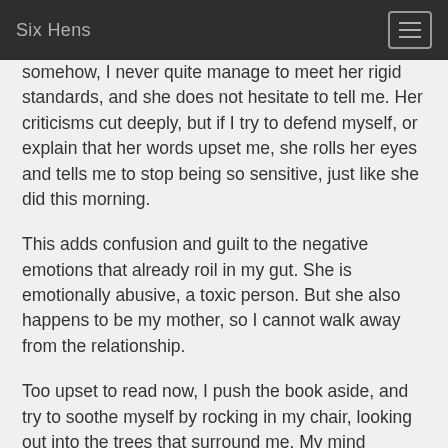Six Hens
somehow, I never quite manage to meet her rigid standards, and she does not hesitate to tell me. Her criticisms cut deeply, but if I try to defend myself, or explain that her words upset me, she rolls her eyes and tells me to stop being so sensitive, just like she did this morning.
This adds confusion and guilt to the negative emotions that already roil in my gut. She is emotionally abusive, a toxic person. But she also happens to be my mother, so I cannot walk away from the relationship.
Too upset to read now, I push the book aside, and try to soothe myself by rocking in my chair, looking out into the trees that surround me. My mind continues to race, recycling memories from long ago.